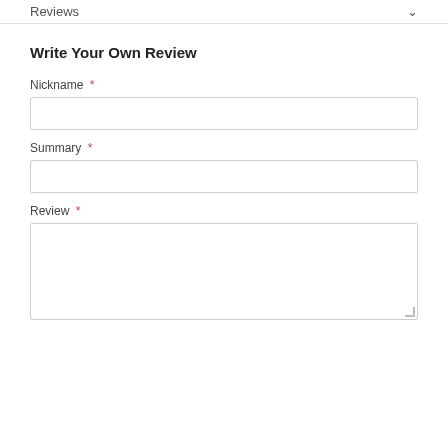Reviews
Write Your Own Review
Nickname *
Summary *
Review *